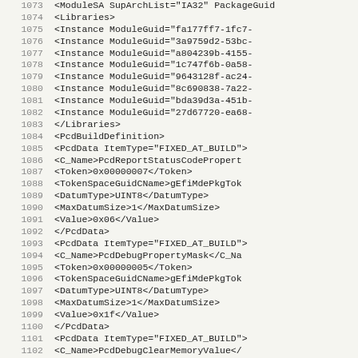Source code listing lines 1073-1105, XML configuration file with ModuleSA, Libraries, Instances, PcdBuildDefinition, and PcdData elements